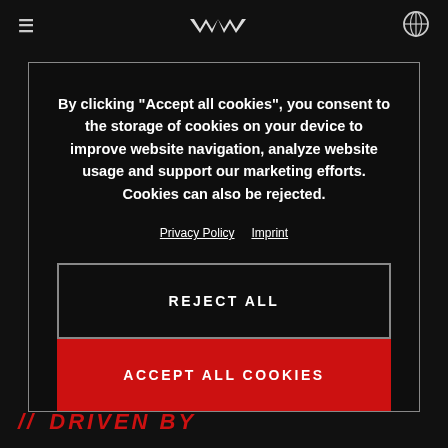Navigation bar with menu icon, logo, and globe icon
By clicking “Accept all cookies”, you consent to the storage of cookies on your device to improve website navigation, analyze website usage and support our marketing efforts. Cookies can also be rejected.
Privacy Policy  Imprint
REJECT ALL
ACCEPT ALL COOKIES
// DRIVEN BY